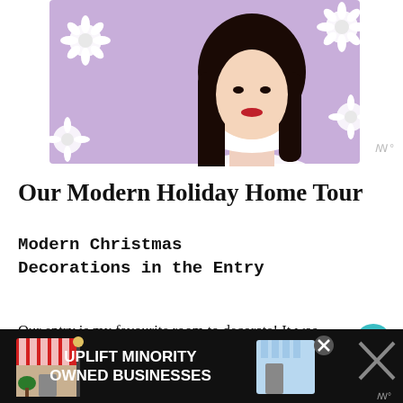[Figure (illustration): Illustration of a woman with long dark hair wearing a white turtleneck sweater against a purple background with white flower decorations]
Our Modern Holiday Home Tour
Modern Christmas Decorations in the Entry
Our entry is my favourite room to decorate! It was one of the first rooms we completed in our homes, and one of the first feature walls we made.
[Figure (infographic): Advertisement banner: UPLIFT MINORITY OWNED BUSINESSES with storefront illustration on dark background]